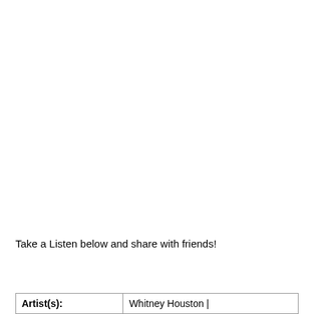Take a Listen below and share with friends!
| Artist(s): | Whitney Houston | |